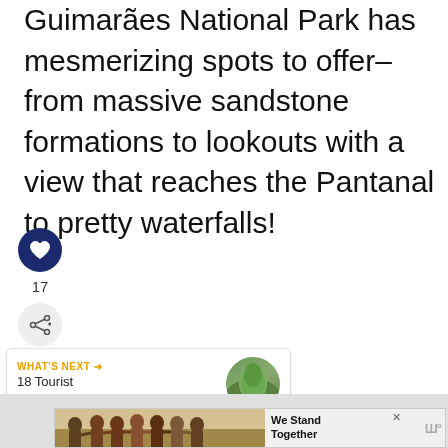Guimarães National Park has mesmerizing spots to offer–from massive sandstone formations to lookouts with a view that reaches the Pantanal to pretty waterfalls!
[Figure (other): Social media interaction buttons: heart/like button (dark blue circle with heart icon), like count showing 17, and share button (light circle with share icon)]
[Figure (other): WHAT'S NEXT navigation card showing '18 Tourist Attractions i...' with a circular thumbnail photo of a natural landscape]
[Figure (other): Advertisement banner showing people from behind with arms around each other, text reads 'We Stand Together' with a close button and logo]